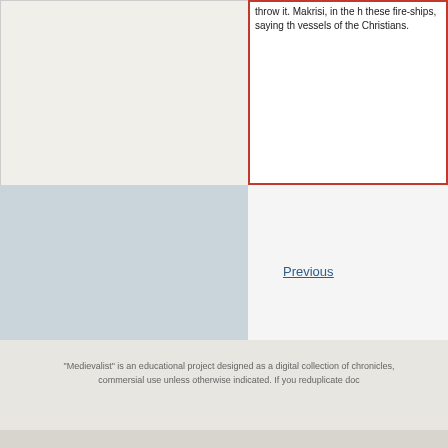throw it. Makrisi, in the h these fire-ships, saying th vessels of the Christians.
Previous
"Medievalist" is an educational project designed as a digital collection of chronicles, commersial use unless otherwise indicated. If you reduplicate doc